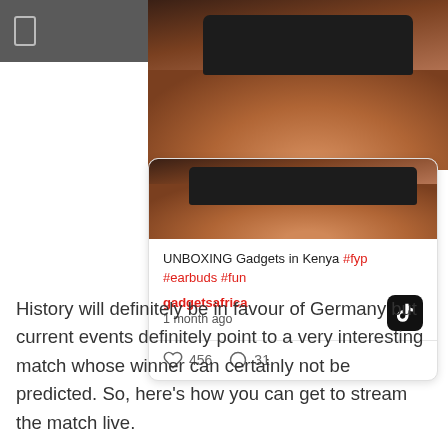[Figure (screenshot): Screenshot of a TikTok post card showing an unboxing video thumbnail with a hand holding earbuds, post title 'UNBOXING Gadgets in Kenya #fyp #earbuds #fun', username 'gadgetsafrica', posted 1 month ago, with 456 likes and 31 comments, on a dark grey app navigation bar background.]
History will definitely be in favour of Germany but current events definitely point to a very interesting match whose winner can certainly not be predicted. So, here's how you can get to stream the match live.